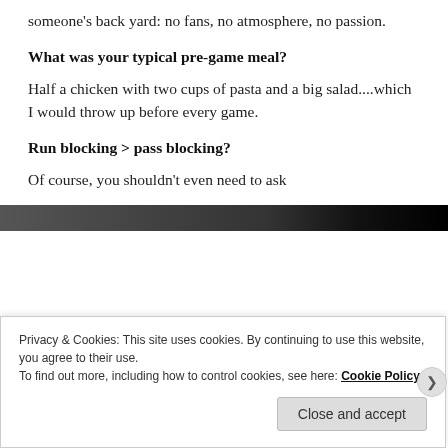someone's back yard: no fans, no atmosphere, no passion.
What was your typical pre-game meal?
Half a chicken with two cups of pasta and a big salad....which I would throw up before every game.
Run blocking > pass blocking?
Of course, you shouldn't even need to ask
[Figure (photo): Dark photograph partially visible behind cookie banner]
Privacy & Cookies: This site uses cookies. By continuing to use this website, you agree to their use.
To find out more, including how to control cookies, see here: Cookie Policy
Close and accept